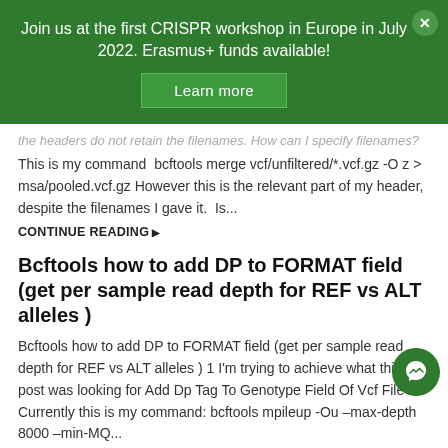Join us at the first CRISPR workshop in Europe in July 2022. Erasmus+ funds available!
Learn more
the headers do not retain the filenames. How can I specify filenames? This is my command  bcftools merge vcf/unfiltered/*.vcf.gz -O z > msa/pooled.vcf.gz However this is the relevant part of my header, despite the filenames I gave it.  Is...
CONTINUE READING
Bcftools how to add DP to FORMAT field (get per sample read depth for REF vs ALT alleles )
Bcftools how to add DP to FORMAT field (get per sample read depth for REF vs ALT alleles ) 1 I'm trying to achieve what this post was looking for Add Dp Tag To Genotype Field Of Vcf File Currently this is my command: bcftools mpileup -Ou –max-depth 8000 –min-MQ...
CONTINUE READING
Vcfutils error code